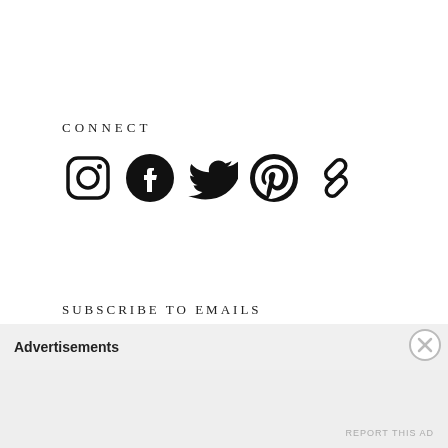CONNECT
[Figure (illustration): Five social media icons: Instagram, Facebook, Twitter, Pinterest, and a chain/link icon, displayed in black.]
SUBSCRIBE TO EMAILS
Receive new posts from Interiors for Families in your inbox.
Email Address
Advertisements
REPORT THIS AD